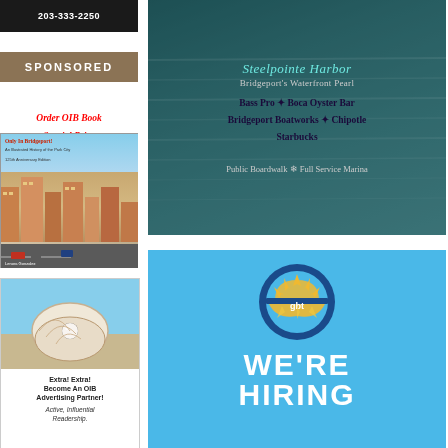[Figure (advertisement): Phone number ad: 203-333-2250 on dark background]
[Figure (advertisement): Sponsored label in tan/brown bar]
Order OIB Book Special Price
[Figure (illustration): Only In Bridgeport book cover with city skyline illustration]
[Figure (illustration): Oyster shell illustration for OIB advertising partner ad]
Extra! Extra! Become An OIB Advertising Partner! Active, Influential Readership.
[Figure (advertisement): Steelpointe Harbor - Bridgeport's Waterfront Pearl ad with businesses: Bass Pro, Boca Oyster Bar, Bridgeport Boatworks, Chipotle, Starbucks. Public Boardwalk, Full Service Marina.]
[Figure (logo): GBT (Greater Bridgeport Transit) circular logo with sun/rays design on light blue background with WE'RE HIRING text]